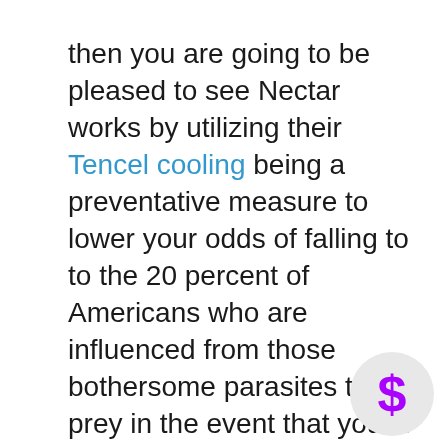then you are going to be pleased to see Nectar works by utilizing their Tencel cooling being a preventative measure to lower your odds of falling to to the 20 percent of Americans who are influenced from those bothersome parasites that prey in the event that you're certainly the absolute most susceptible.
This stuff is even today bed insect resistant and also boosts air flow together with heat. The Nectar cover truly sets atmosphere throughout the mattress. If enough time arrives that you simply require a first cover, you merely need to phone, and they're liable to send you a new cover free from price.